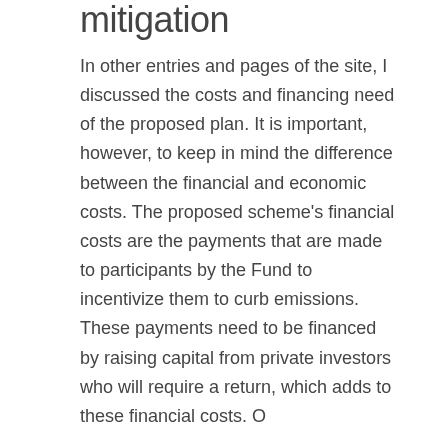mitigation
In other entries and pages of the site, I discussed the costs and financing need of the proposed plan. It is important, however, to keep in mind the difference between the financial and economic costs. The proposed scheme's financial costs are the payments that are made to participants by the Fund to incentivize them to curb emissions. These payments need to be financed by raising capital from private investors who will require a return, which adds to these financial costs. O